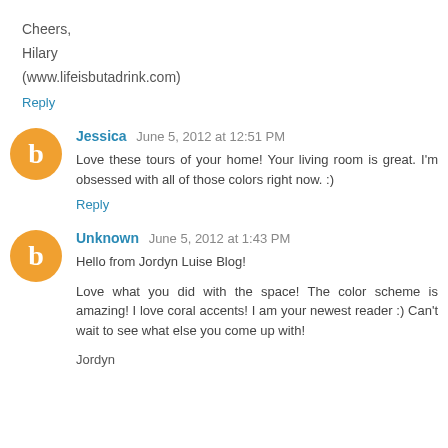Cheers,
Hilary
(www.lifeisbutadrink.com)
Reply
Jessica  June 5, 2012 at 12:51 PM
Love these tours of your home! Your living room is great. I'm obsessed with all of those colors right now. :)
Reply
Unknown  June 5, 2012 at 1:43 PM
Hello from Jordyn Luise Blog!
Love what you did with the space! The color scheme is amazing! I love coral accents! I am your newest reader :) Can't wait to see what else you come up with!
Jordyn